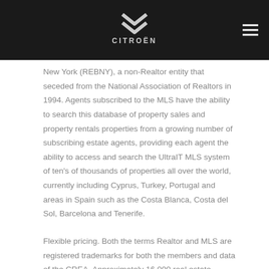CITROËN logo header
New York (REBNY), a non-Realtor entity that seceded from the National Association of Realtors in 1994. Agents subscribed to the MLS have the ability to search this database of property sales and property rentals properties from a growing number of subscribing estate agents, providing each agent the ability to access and search the UltraIT MLS system of ten's of thousands of properties all over the world, currently including Cyprus, Turkey, Portugal and areas in Spain such as the Costa Blanca, Costa del Sol, Barcelona and Tenerife.
Flexible pricing. Both the terms Realtor and MLS are registered trademarks for both the members and data of the CREA. Approximately 16,000 real estate professionals representing 28,000 square miles conduct business utilizing our MLS